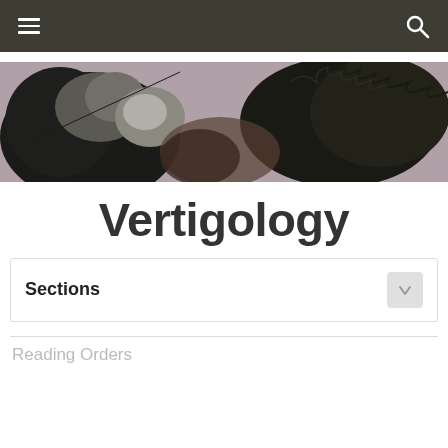Navigation bar with hamburger menu and search icon
[Figure (photo): Close-up artistic photo of dark fur or hair-like texture against a muted background, appearing to show animal fur or a sculptural installation]
Vertigology
Sections
Reading Orders